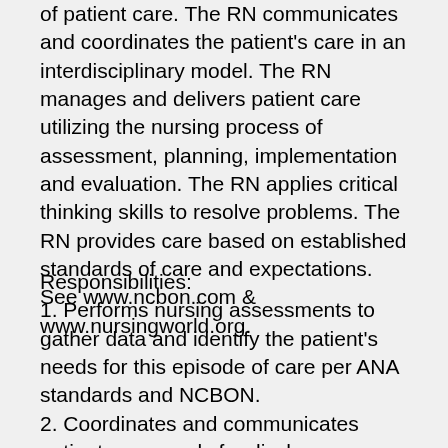of patient care. The RN communicates and coordinates the patient's care in an interdisciplinary model. The RN manages and delivers patient care utilizing the nursing process of assessment, planning, implementation and evaluation. The RN applies critical thinking skills to resolve problems. The RN provides care based on established standards of care and expectations. See www.ncbon.com & www.nursingworld.org.
Responsibilities:
1. Performs nursing assessments to gather data and identify the patient's needs for this episode of care per ANA standards and NCBON.
2. Coordinates and communicates patient care needs for discharge planning in interdisciplinary care conferences and with members of the health care team.